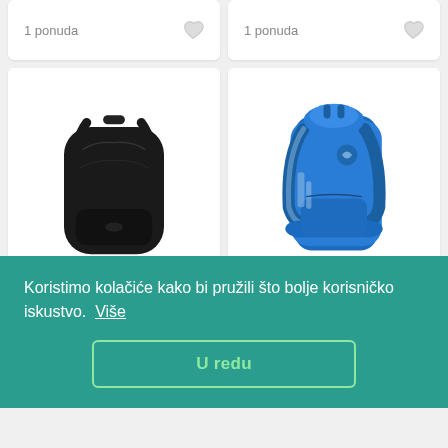1 ponuda
1 ponuda
[Figure (photo): Black Osprey Radial backpack on white background]
[Figure (photo): Blue Osprey Escapist 32 hiking backpack on white background]
Osprey Radial Black
Osprey Escapist 32
1.
16
1 p
Koristimo kolačiće kako bi pružili što bolje korisničko iskustvo.  Više
U redu